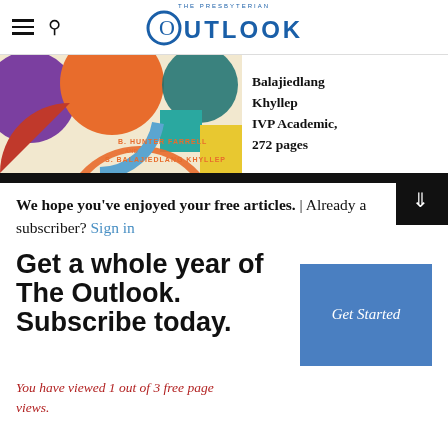THE PRESBYTERIAN OUTLOOK
[Figure (illustration): Colorful book cover with geometric shapes (circles, arcs) in purple, orange, red, teal, yellow. Text reads: B. Hunter Farrell and S. Balajiedlang Khyllep]
Balajiedlang Khyllep IVP Academic, 272 pages
We hope you've enjoyed your free articles. | Already a subscriber? Sign in
Get a whole year of The Outlook. Subscribe today.
You have viewed 1 out of 3 free page views.